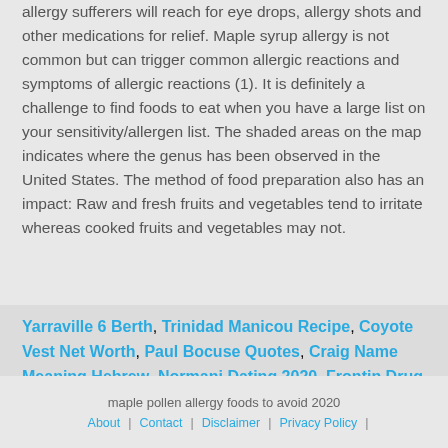allergy sufferers will reach for eye drops, allergy shots and other medications for relief. Maple syrup allergy is not common but can trigger common allergic reactions and symptoms of allergic reactions (1). It is definitely a challenge to find foods to eat when you have a large list on your sensitivity/allergen list. The shaded areas on the map indicates where the genus has been observed in the United States. The method of food preparation also has an impact: Raw and fresh fruits and vegetables tend to irritate whereas cooked fruits and vegetables may not.
Yarraville 6 Berth, Trinidad Manicou Recipe, Coyote Vest Net Worth, Paul Bocuse Quotes, Craig Name Meaning Hebrew, Normani Dating 2020, Frontin Drug Uk,
maple pollen allergy foods to avoid 2020
About | Contact | Disclaimer | Privacy Policy |